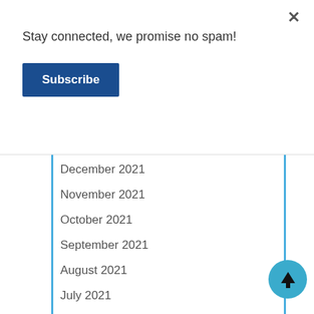Stay connected, we promise no spam!
Subscribe
×
December 2021
November 2021
October 2021
September 2021
August 2021
July 2021
May 2021
April 2021
March 2021
December 2020
November 2020